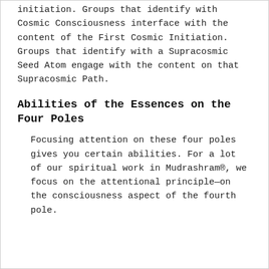initiation. Groups that identify with Cosmic Consciousness interface with the content of the First Cosmic Initiation. Groups that identify with a Supracosmic Seed Atom engage with the content on that Supracosmic Path.
Abilities of the Essences on the Four Poles
Focusing attention on these four poles gives you certain abilities. For a lot of our spiritual work in Mudrashram®, we focus on the attentional principle—on the consciousness aspect of the fourth pole.